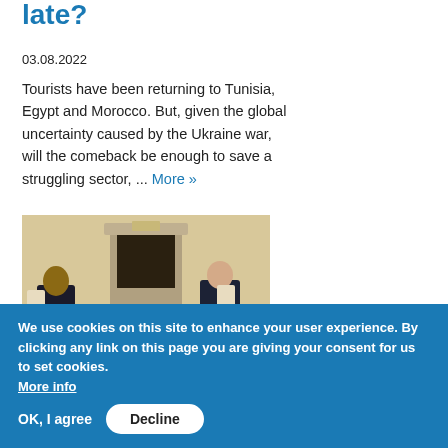late?
03.08.2022
Tourists have been returning to Tunisia, Egypt and Morocco. But, given the global uncertainty caused by the Ukraine war, will the comeback be enough to save a struggling sector, ... More »
[Figure (photo): Two men in suits sitting face to face in ornate chairs in a formal room with a fireplace, appearing to be in diplomatic discussion.]
We use cookies on this site to enhance your user experience. By clicking any link on this page you are giving your consent for us to set cookies. More info
OK, I agree   Decline